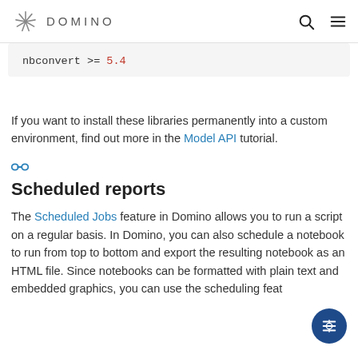DOMINO
nbconvert >= 5.4
If you want to install these libraries permanently into a custom environment, find out more in the Model API tutorial.
Scheduled reports
The Scheduled Jobs feature in Domino allows you to run a script on a regular basis. In Domino, you can also schedule a notebook to run from top to bottom and export the resulting notebook as an HTML file. Since notebooks can be formatted with plain text and embedded graphics, you can use the scheduling feat…